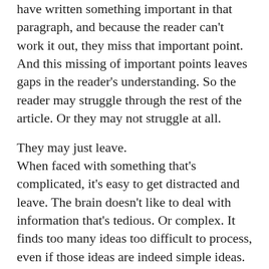have written something important in that paragraph, and because the reader can't work it out, they miss that important point. And this missing of important points leaves gaps in the reader's understanding. So the reader may struggle through the rest of the article. Or they may not struggle at all.
They may just leave.
When faced with something that's complicated, it's easy to get distracted and leave. The brain doesn't like to deal with information that's tedious. Or complex. It finds too many ideas too difficult to process, even if those ideas are indeed simple ideas. This causes the brain to tell you that you're better off reading something easier.